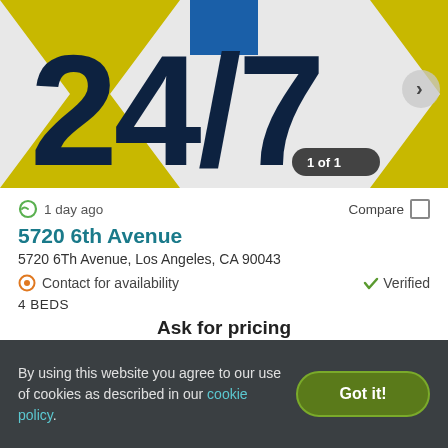[Figure (screenshot): Property listing image showing large '24/7' text in dark navy on yellow/blue background with navigation arrow and '1 of 1' badge]
1 day ago
Compare
5720 6th Avenue
5720 6Th Avenue, Los Angeles, CA 90043
Contact for availability
Verified
4 BEDS
Ask for pricing
View Details
Contact Property
By using this website you agree to our use of cookies as described in our cookie policy.
Got it!